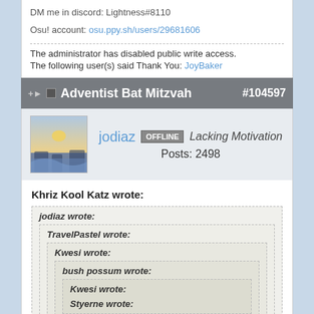DM me in discord: Lightness#8110
Osu! account: osu.ppy.sh/users/29681606
The administrator has disabled public write access.
The following user(s) said Thank You: JoyBaker
Adventist Bat Mitzvah #104597
jodiaz OFFLINE Lacking Motivation Posts: 2498
Khriz Kool Katz wrote:
jodiaz wrote: TravelPastel wrote: Kwesi wrote: bush possum wrote: Kwesi wrote: Styerne wrote: